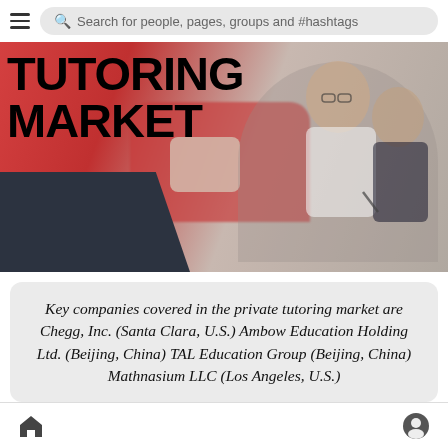Search for people, pages, groups and #hashtags
[Figure (photo): Banner image showing 'TUTORING MARKET' text on left with dark polygon shape, and blurred photo of two people (tutor and student) working together near a red couch on the right]
Key companies covered in the private tutoring market are Chegg, Inc. (Santa Clara, U.S.) Ambow Education Holding Ltd. (Beijing, China) TAL Education Group (Beijing, China) Mathnasium LLC (Los Angeles, U.S.)
Home / Profile navigation icons